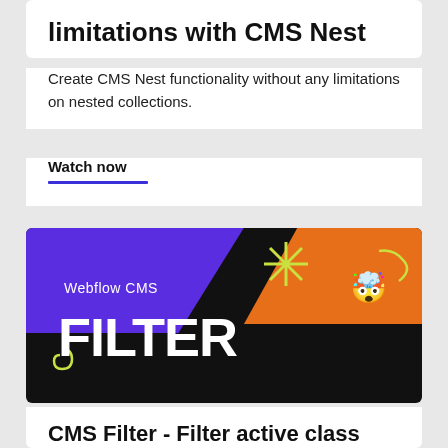limitations with CMS Nest
Create CMS Nest functionality without any limitations on nested collections.
Watch now
[Figure (screenshot): Dark thumbnail image for a Webflow CMS Filter tutorial video. Shows 'Webflow CMS' text and large 'FILTER' text in white on a dark background with purple and orange color blocks, decorative asterisk, swirl, and emoji.]
CMS Filter - Filter active class tutorial